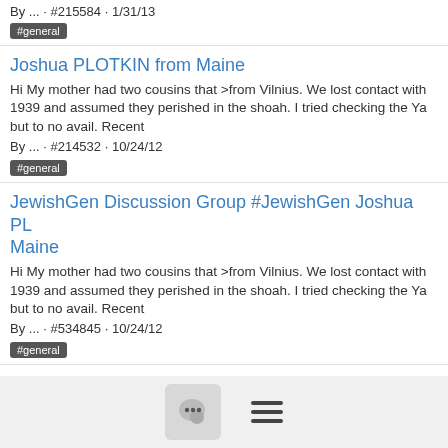By ... · #215584 · 1/31/13
#general
Joshua PLOTKIN from Maine
Hi My mother had two cousins that >from Vilnius. We lost contact with 1939 and assumed they perished in the shoah. I tried checking the Ya but to no avail. Recent
By ... · #214532 · 10/24/12
#general
JewishGen Discussion Group #JewishGen Joshua PL Maine
Hi My mother had two cousins that >from Vilnius. We lost contact with 1939 and assumed they perished in the shoah. I tried checking the Ya but to no avail. Recent
By ... · #534845 · 10/24/12
#general
ViewMate translation request - Yiddish
Hi I've posted 1 record in Yiddish for which I need translations. It is or